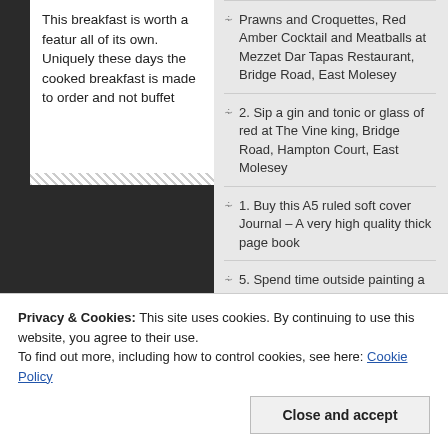This breakfast is worth a feature all of its own. Uniquely these days the cooked breakfast is made to order and not buffet
Prawns and Croquettes, Red Amber Cocktail and Meatballs at Mezzet Dar Tapas Restaurant, Bridge Road, East Molesey
2. Sip a gin and tonic or glass of red at The Vine king, Bridge Road, Hampton Court, East Molesey
1. Buy this A5 ruled soft cover Journal – A very high quality thick page book
5. Spend time outside painting a forest school bug hotel from The Works
Privacy & Cookies: This site uses cookies. By continuing to use this website, you agree to their use.
To find out more, including how to control cookies, see here: Cookie Policy
Close and accept
best quality you will ever